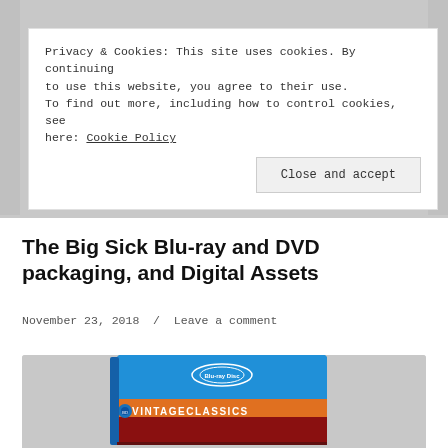[Figure (photo): DVD/Blu-ray box set packaging photo showing a multi-disc set with yellow spine and age rating 15 certificate, partially cropped at top]
Privacy & Cookies: This site uses cookies. By continuing to use this website, you agree to their use.
To find out more, including how to control cookies, see here: Cookie Policy
Close and accept
The Big Sick Blu-ray and DVD packaging, and Digital Assets
November 23, 2018  /  Leave a comment
[Figure (photo): Blu-ray disc case showing Vintage Classics branding with blue top and orange/red lower sections, partially cropped at bottom]